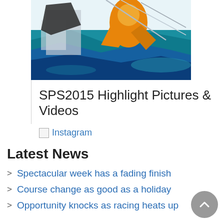[Figure (illustration): Colorful illustrated image of a person sailing, showing orange jacket, teal water, and abstract sailboat elements]
SPS2015 Highlight Pictures & Videos
Instagram
Latest News
Spectacular week has a fading finish
Course change as good as a holiday
Opportunity knocks as racing heats up